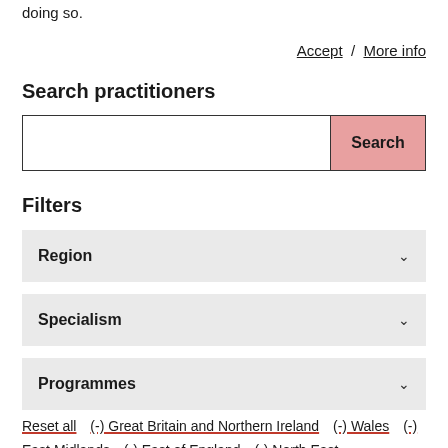doing so.
Accept / More info
Search practitioners
[Search box with Search button]
Filters
Region
Specialism
Programmes
Reset all   (-) Great Britain and Northern Ireland   (-) Wales   (-) East Midlands   (-) East of England   (-) North East